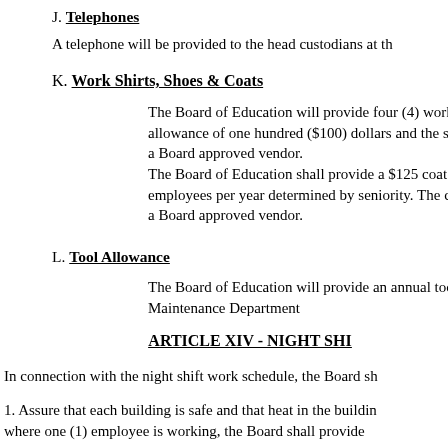J. Telephones
A telephone will be provided to the head custodians at th
K. Work Shirts, Shoes & Coats
The Board of Education will provide four (4) work shirts allowance of one hundred ($100) dollars and the sh a Board approved vendor.
The Board of Education shall provide a $125 coat a employees per year determined by seniority. The c a Board approved vendor.
L. Tool Allowance
The Board of Education will provide an annual too Maintenance Department
ARTICLE XIV - NIGHT SHI
In connection with the night shift work schedule, the Board sh
1. Assure that each building is safe and that heat in the buildin where one (1) employee is working, the Board shall provide